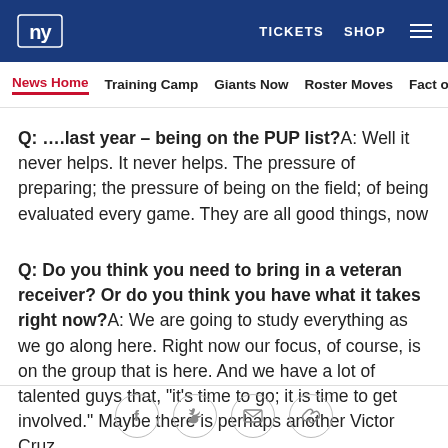NY Giants | TICKETS  SHOP
News Home  Training Camp  Giants Now  Roster Moves  Fact o
Q:  ….last year – being on the PUP list?A: Well it never helps. It never helps. The pressure of preparing; the pressure of being on the field; of being evaluated every game. They are all good things, now
Q:  Do you think you need to bring in a veteran receiver?  Or do you think you have what it takes right now?A: We are going to study everything as we go along here. Right now our focus, of course, is on the group that is here. And we have a lot of talented guys that, "it's time to go; it is time to get involved." Maybe there is perhaps another Victor Cruz.
Social share icons: Facebook, Twitter, Email, Link